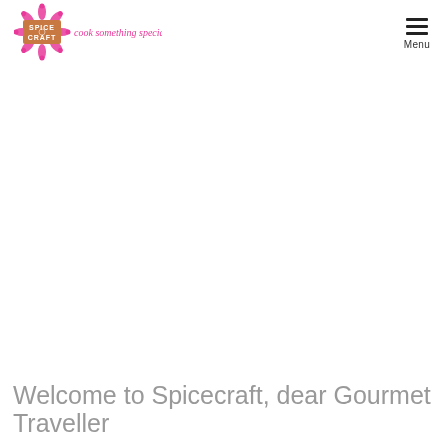[Figure (logo): Spicecraft logo with pink decorative snowflake/mandala shape, text 'SPICE CRAFT' in a brown rectangle, and pink italic script 'cook something special' to the right]
[Figure (other): Hamburger menu icon (three horizontal lines) with 'Menu' label below]
Welcome to Spicecraft, dear Gourmet Traveller